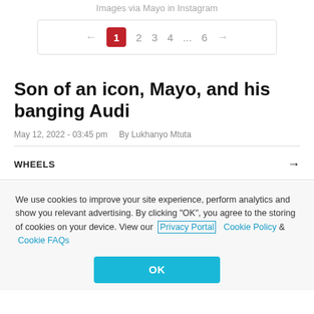Images via Mayo in Instagram
[Figure (screenshot): Pagination widget showing pages 1 (active, red), 2, 3, 4, ..., 6 with left and right arrows]
Son of an icon, Mayo, and his banging Audi
May 12, 2022 - 03:45 pm   By Lukhanyo Mtuta
WHEELS →
We use cookies to improve your site experience, perform analytics and show you relevant advertising. By clicking "OK", you agree to the storing of cookies on your device. View our Privacy Portal   Cookie Policy &   Cookie FAQs
OK